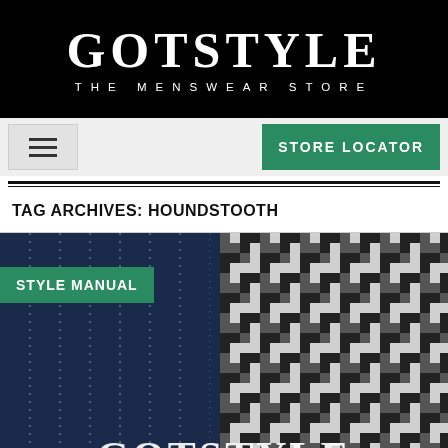GOTSTYLE THE MENSWEAR STORE
[Figure (screenshot): Navigation bar with hamburger menu icon on left and green STORE LOCATOR button on right]
TAG ARCHIVES: HOUNDSTOOTH
[Figure (photo): Close-up image of two fabric patterns side by side: navy blue pinstripe fabric on the left and black and white houndstooth fabric on the right, with GOTSTYLE text overlaid at the bottom and a green STYLE MANUAL badge on the upper left]